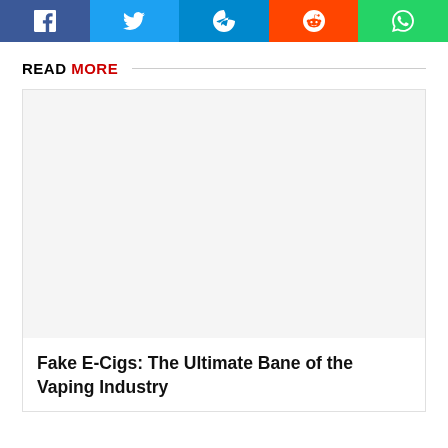[Figure (other): Social media share buttons: Facebook (blue), Twitter (light blue), Telegram (teal/blue), Reddit (orange), WhatsApp (green)]
READ MORE
[Figure (photo): Article thumbnail image placeholder (light gray background)]
Fake E-Cigs: The Ultimate Bane of the Vaping Industry